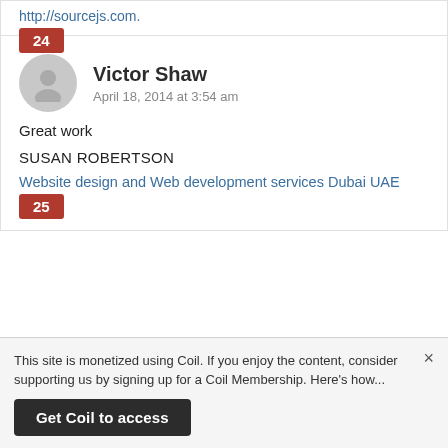http://sourcejs.com.
24
Victor Shaw
April 18, 2014 at 3:54 am
Great work
SUSAN ROBERTSON
Website design and Web development services Dubai UAE
25
This site is monetized using Coil. If you enjoy the content, consider supporting us by signing up for a Coil Membership. Here's how...
Get Coil to access